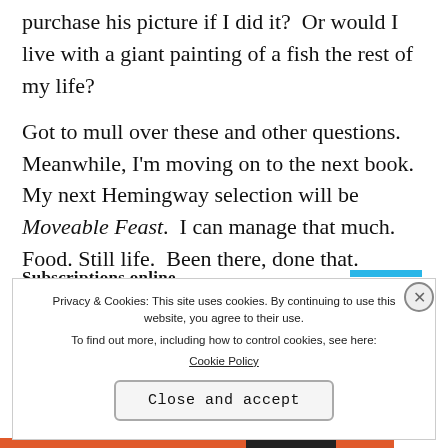purchase his picture if I did it?  Or would I live with a giant painting of a fish the rest of my life?
Got to mull over these and other questions.  Meanwhile, I'm moving on to the next book.  My next Hemingway selection will be Moveable Feast.  I can manage that much.  Food. Still life.  Been there, done that.
Privacy & Cookies: This site uses cookies. By continuing to use this website, you agree to their use. To find out more, including how to control cookies, see here: Cookie Policy
Close and accept